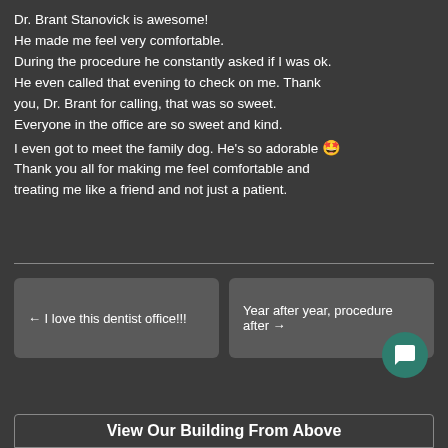Dr. Brant Stanovick is awesome! He made me feel very comfortable. During the procedure he constantly asked if I was ok. He even called that evening to check on me. Thank you, Dr. Brant for calling, that was so sweet. Everyone in the office are so sweet and kind. I even got to meet the family dog. He's so adorable 🤩 Thank you all for making me feel comfortable and treating me like a friend and not just a patient.
← I love this dentist office!!!
Year after year, procedure after →
[Figure (other): Green circular chat bubble icon button in bottom right corner]
View Our Building From Above